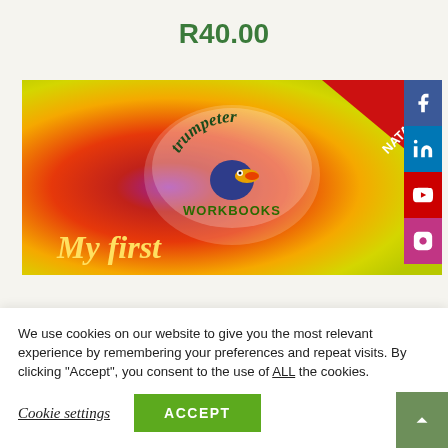R40.00
[Figure (illustration): Trumpeter Workbooks book cover banner showing orange-to-yellow gradient background, Trumpeter Workbooks logo with toucan bird, red ribbon corner with NATALIA text, and 'My first' italic text in yellow at bottom left. Social media icons (Facebook, LinkedIn, YouTube, Instagram) visible on right edge.]
We use cookies on our website to give you the most relevant experience by remembering your preferences and repeat visits. By clicking “Accept”, you consent to the use of ALL the cookies.
Cookie settings
ACCEPT